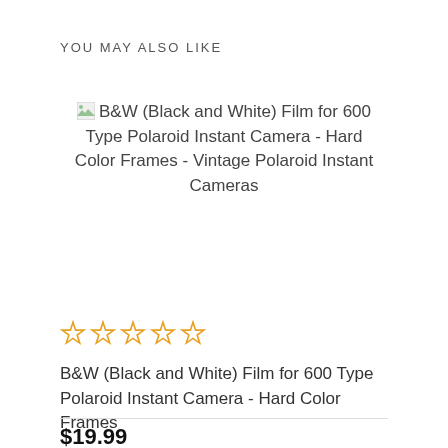YOU MAY ALSO LIKE
[Figure (other): Broken image placeholder icon for product photo of B&W Film for 600 Type Polaroid Instant Camera]
B&W (Black and White) Film for 600 Type Polaroid Instant Camera - Hard Color Frames - Vintage Polaroid Instant Cameras
[Figure (other): Five empty star rating icons (0 out of 5 stars)]
B&W (Black and White) Film for 600 Type Polaroid Instant Camera - Hard Color Frames
$19.99